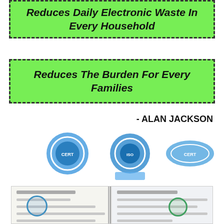Reduces Daily Electronic Waste In Every Household
Reduces The Burden For Every Families
- ALAN JACKSON
[Figure (illustration): Three blue certification/badge logos - two circular badges and one oval badge]
[Figure (photo): Two blurred certificate documents side by side with stamps and text lines]